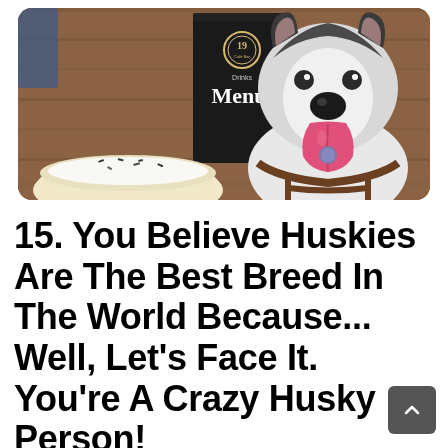[Figure (photo): A happy Siberian Husky dog sitting at a cafe table with tongue out, next to a menu board reading '19 Drinks Menu' and a frosted donut in the foreground. Wooden background.]
15. You Believe Huskies Are The Best Breed In The World Because... Well, Let's Face It. You're A Crazy Husky Person!